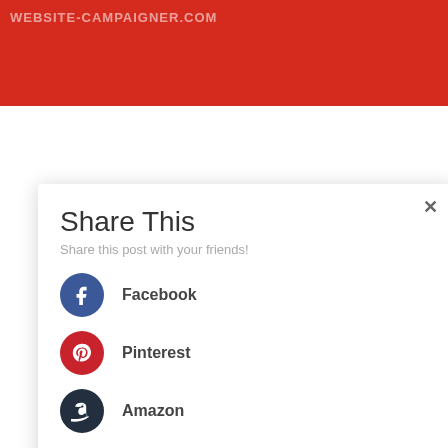[Figure (screenshot): Red banner header with faint white uppercase text partially visible at top]
Share This
Share this post with your friends!
Facebook
Pinterest
Amazon